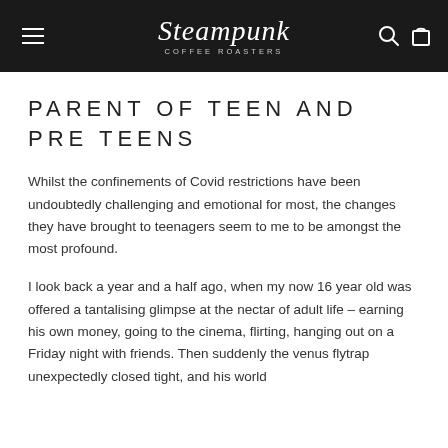Steampunk Coffee Roasters
PARENT OF TEEN AND PRE TEENS
Whilst the confinements of Covid restrictions have been undoubtedly challenging and emotional for most, the changes they have brought to teenagers seem to me to be amongst the most profound.
I look back a year and a half ago, when my now 16 year old was offered a tantalising glimpse at the nectar of adult life – earning his own money, going to the cinema, flirting, hanging out on a Friday night with friends. Then suddenly the venus flytrap unexpectedly closed tight, and his world